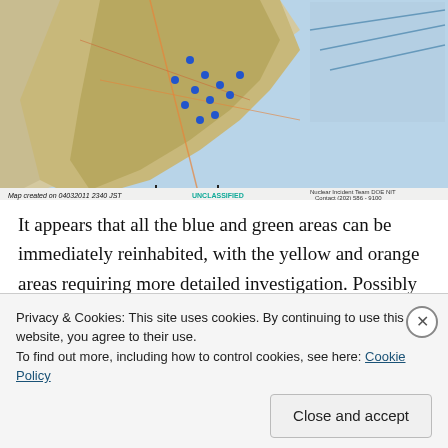[Figure (map): Map showing radiation monitoring measurements around the Fukushima Daiichi Nuclear Power Plant area, created on 04032011 2340 JST. Labeled UNCLASSIFIED. Nuclear Incident Team DOE NIT, Contact (202) 586-9100.]
It appears that all the blue and green areas can be immediately reinhabited, with the yellow and orange areas requiring more detailed investigation. Possibly cleaning up local hot spots; the activity measurements on the ground vary wildly, some measurements have revealed more than several m cesium contamination;
Privacy & Cookies: This site uses cookies. By continuing to use this website, you agree to their use.
To find out more, including how to control cookies, see here: Cookie Policy